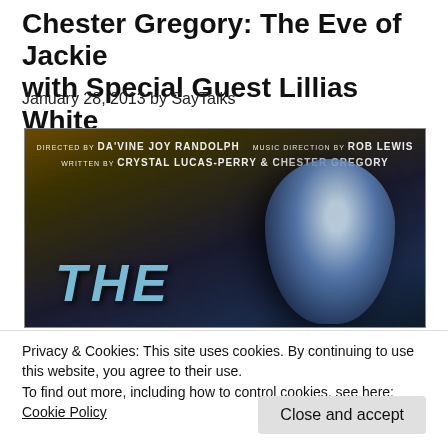Chester Gregory: The Eve of Jackie with Special Guest Lillias White
January 28, 2013 by SayTalks
[Figure (photo): Movie/show poster with dark background. Credits read: Directed by Da'Vine Joy Randolph, Music Direction by Rob Lewis, Written by Crystal Lucas-Perry & Chester Gregory. Large text 'THE' visible in blue. A stylized face silhouette on the right.]
Privacy & Cookies: This site uses cookies. By continuing to use this website, you agree to their use.
To find out more, including how to control cookies, see here:
Cookie Policy
Close and accept